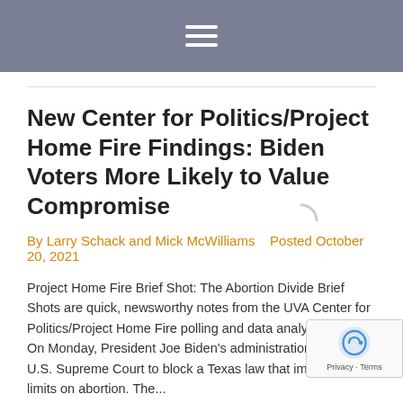≡ (navigation menu icon)
New Center for Politics/Project Home Fire Findings: Biden Voters More Likely to Value Compromise
By Larry Schack and Mick McWilliams   Posted October 20, 2021
Project Home Fire Brief Shot: The Abortion Divide Brief Shots are quick, newsworthy notes from the UVA Center for Politics/Project Home Fire polling and data analytics project. On Monday, President Joe Biden's administration asked the U.S. Supreme Court to block a Texas law that imposes strict limits on abortion. The...
MORE →